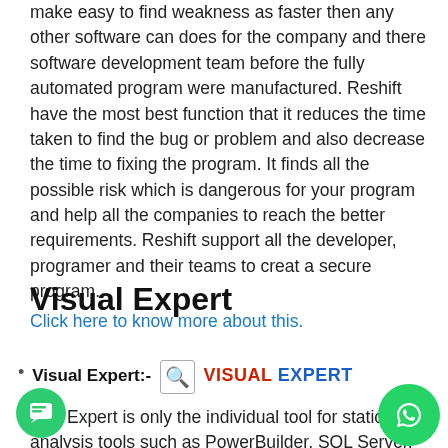make easy to find weakness as faster then any other software can does for the company and there software development team before the fully automated program were manufactured. Reshift have the most best function that it reduces the time taken to find the bug or problem and also decrease the time to fixing the program. It finds all the possible risk which is dangerous for your program and help all the companies to reach the better requirements. Reshift support all the developer, programer and their teams to creat a secure program. Click here to know more about this.
Visual Expert
Visual Expert:- [logo] VISUAL EXPERT
sual Expert is only the individual tool for static analysis tools such as PowerBuilder, SQL Server, Oracle